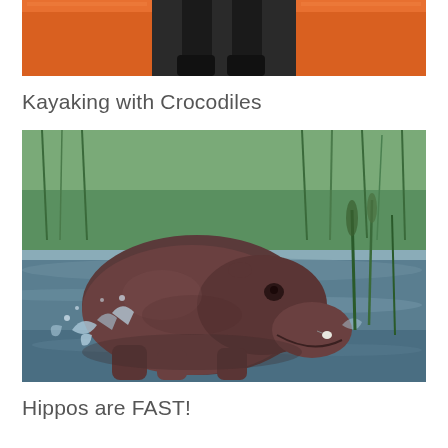[Figure (photo): Top portion of a photo showing someone in an orange kayak on water, seen from above with legs/feet visible and orange kayak sides]
Kayaking with Crocodiles
[Figure (photo): A hippopotamus charging or running through shallow water with splashing water around its legs, with green reeds and grasses in the background]
Hippos are FAST!